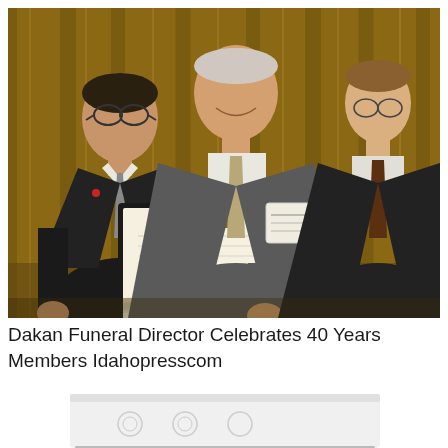[Figure (photo): Three men in suits standing together. The man on the left and the man in the center are holding a framed certificate/award. The man in the center is wearing a name badge. They are posed in front of a wood-paneled wall. The photo documents a funeral director celebrating 40 years membership.]
Dakan Funeral Director Celebrates 40 Years Members Idahopresscom
[Figure (photo): Partial view of a white box or casket with circular decorative elements on its side, shown at the bottom of the page.]